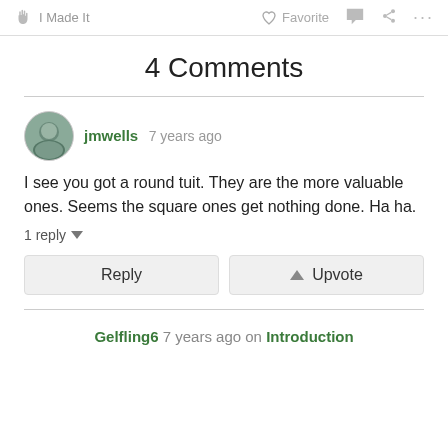I Made It   Favorite   ...
4 Comments
jmwells 7 years ago
I see you got a round tuit. They are the more valuable ones. Seems the square ones get nothing done. Ha ha.
1 reply
Reply  Upvote
Gelfling6 7 years ago on Introduction